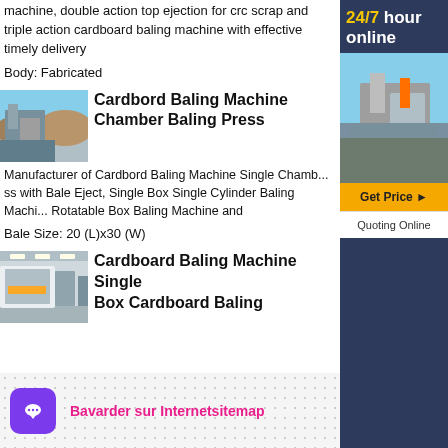machine, double action top ejection for crc scrap and triple action cardboard baling machine with effective timely delivery
Body: Fabricated
[Figure (photo): Industrial mining or crushing facility machinery photo]
Cardbord Baling Machine Chamber Baling Press
Manufacturer of Cardbord Baling Machine Single Chamber Baling Press with Bale Eject, Single Box Single Cylinder Baling Machine, Rotatable Box Baling Machine and
Bale Size: 20 (L)x30 (W)
[Figure (photo): Industrial cardboard baling machine in a warehouse facility]
Cardboard Baling Machine Single Box Cardboard Baling
[Figure (infographic): Sidebar ad: 24/7 hour online with industrial machinery photo, Get Price button, Quoting Online button]
Bavarder sur Internetsitemap